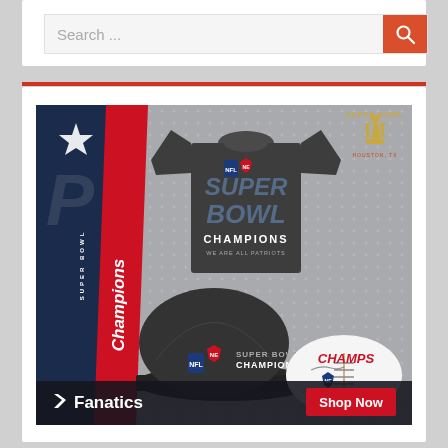[Figure (screenshot): Search bar with grey input field showing 'Search ...' placeholder text and an orange-red search button with magnifying glass icon]
[Figure (illustration): Fanatics advertisement for New England Patriots Super Bowl LI Champions merchandise, showing a champion t-shirt, cap, and signed football. Text reads 'SUPER BOWL Champions', 'SUPER BOWL CHAMPIONS WE ARE ALL PATRIOTS', 'CHAMPS', 'Fanatics', 'Shop Now']